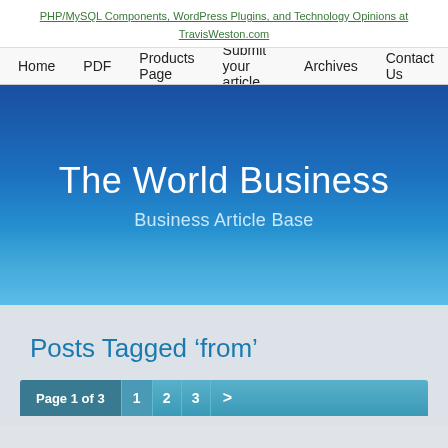PHP/MySQL Components, WordPress Plugins, and Technology Opinions at TravisWeston.com
Home  PDF  Products Page  Submit your article  Archives  Contact Us
The World Business
Business Article Base
Posts Tagged 'from'
Page 1 of 3  1  2  3  >